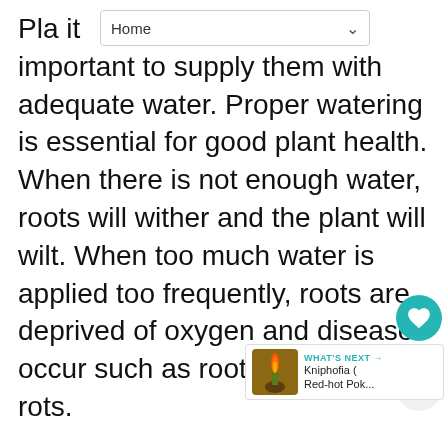Home
Plants need water, making it important to supply them with adequate water. Proper watering is essential for good plant health. When there is not enough water, roots will wither and the plant will wilt. When too much water is applied too frequently, roots are deprived of oxygen and diseases occur such as root and stem rots.

The type of plant, plant age, light level, soil type and container size all will impact when a plant needs to be watered. Follow these tips to ensure successful watering:

* The key to watering is frequency. Water well then wait long enough until the plant needs to
[Figure (other): Heart/like button (teal circle with white heart icon) showing count of 1, and a share button below it]
[Figure (other): What's Next card showing a Kniphofia (Red-hot Pok...) plant image thumbnail with teal label text]